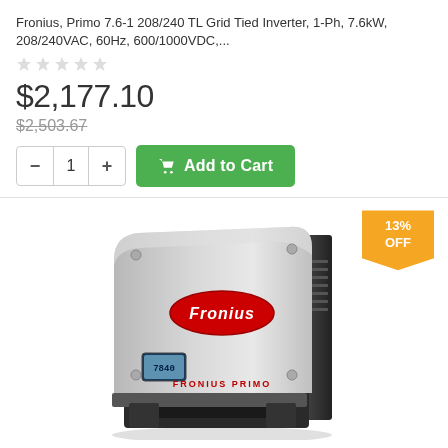Fronius, Primo 7.6-1 208/240 TL Grid Tied Inverter, 1-Ph, 7.6kW, 208/240VAC, 60Hz, 600/1000VDC,...
★★★★★ (0 reviews)
$2,177.10
$2,503.67 (strikethrough)
− 1 + Add to Cart
[Figure (photo): Fronius Primo 7.6-1 grid-tied solar inverter, light gray enclosure with Fronius logo in red oval, small LCD display at lower left, FRONIUS PRIMO text at bottom, 13% OFF badge at top right]